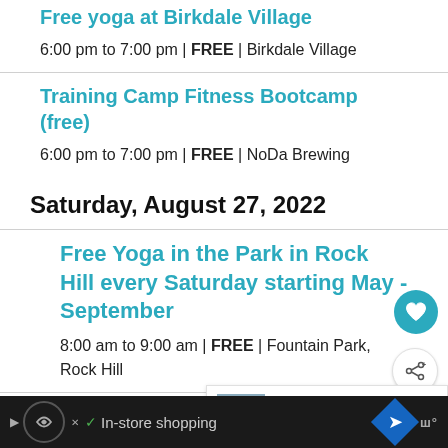Free yoga at Birkdale Village
6:00 pm to 7:00 pm | FREE | Birkdale Village
Training Camp Fitness Bootcamp (free)
6:00 pm to 7:00 pm | FREE | NoDa Brewing
Saturday, August 27, 2022
Free Yoga in the Park in Rock Hill every Saturday starting May - September
8:00 am to 9:00 am | FREE | Fountain Park, Rock Hill
Free yoga class at Blakeney
10:00 am to 11:00 am | FREE | Blakeney
WHAT'S NEXT → Optimist Hall starting to...